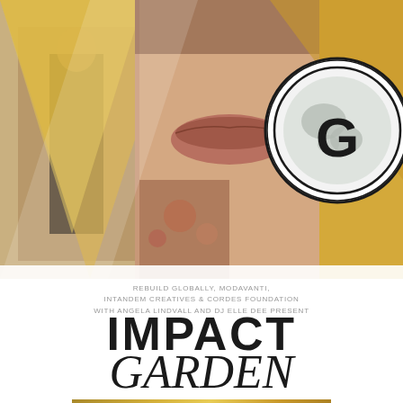[Figure (photo): Collage of fashion/lifestyle images with gold geometric triangles and a global 'G' logo in top right corner. Features close-up of woman's face, person in black outfit, and gold/white geometric shapes.]
REBUILD GLOBALLY, MODAVANTI, INTANDEM CREATIVES & CORDES FOUNDATION WITH ANGELA LINDVALL AND DJ ELLE DEE PRESENT
IMPACT GARDEN
MARCH 7 · TICKETS AVAILABLE NOW
Mar 07, 2016
INDIGO HANDLOOM AT IMPACT GARDEN TONIGHT!